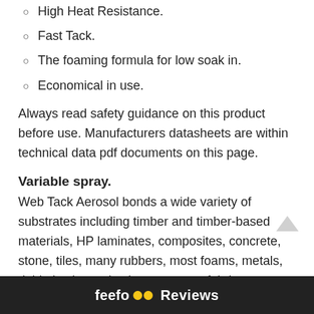High Heat Resistance.
Fast Tack.
The foaming formula for low soak in.
Economical in use.
Always read safety guidance on this product before use. Manufacturers datasheets are within technical data pdf documents on this page.
Variable spray.
Web Tack Aerosol bonds a wide variety of substrates including timber and timber-based materials, HP laminates, composites, concrete, stone, tiles, many rubbers, most foams, metals, rigid plastics, polyethene, canvas fabrics, cardboard, carpet, and cork. Web Tack is ideal for fixing polyethene sheeting for enclosures prior to asbestos removal, for fixing thermal insulation and for packaging applications such as palletising or case sealing. It may be used for foam bonding, upholstery, *automotive carpets and trim and is useful for temporary bonding instead of double-sided tape. Limitations.* Not suitable for use wi... PVC (Vinyl) or ...
feefo Reviews